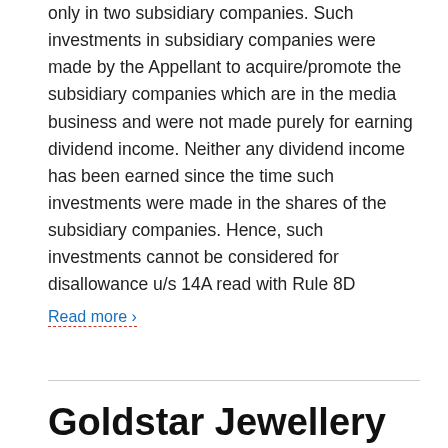only in two subsidiary companies. Such investments in subsidiary companies were made by the Appellant to acquire/promote the subsidiary companies which are in the media business and were not made purely for earning dividend income. Neither any dividend income has been earned since the time such investments were made in the shares of the subsidiary companies. Hence, such investments cannot be considered for disallowance u/s 14A read with Rule 8D
Read more ›
Goldstar Jewellery